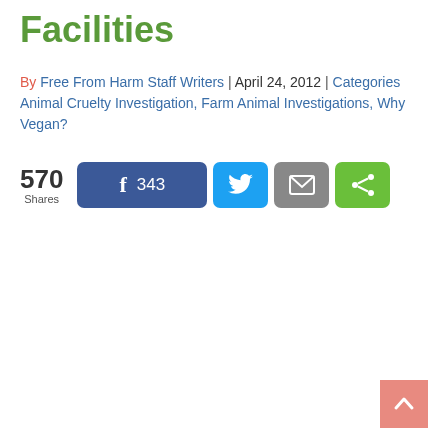Facilities
By Free From Harm Staff Writers | April 24, 2012 | Categories Animal Cruelty Investigation, Farm Animal Investigations, Why Vegan?
[Figure (infographic): Social share bar with 570 total shares: Facebook button with 343 shares, Twitter button, Email button, and Share button]